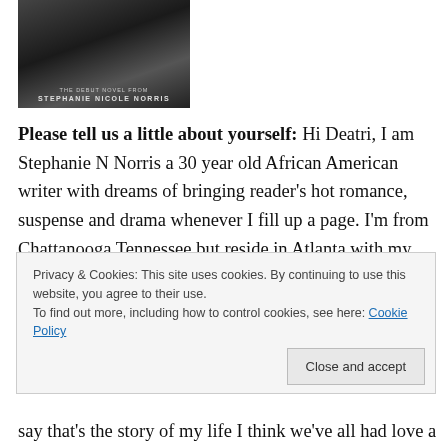[Figure (illustration): Book cover for 'Trouble In Paradise' by Stephanie Nicole Norris, dark background with title and author name in light text]
Please tell us a little about yourself: Hi Deatri, I am Stephanie N Norris a 30 year old African American writer with dreams of bringing reader's hot romance, suspense and drama whenever I fill up a page. I'm from Chattanooga Tennessee but reside in Atlanta with my fiancé. I started writing in 2010 when I decided to bring my first novel to life Trouble In Paradise. I've always been a lover of reading and writing is second nature for me.
Privacy & Cookies: This site uses cookies. By continuing to use this website, you agree to their use. To find out more, including how to control cookies, see here: Cookie Policy
Close and accept
say that's the story of my life I think we've all had love and